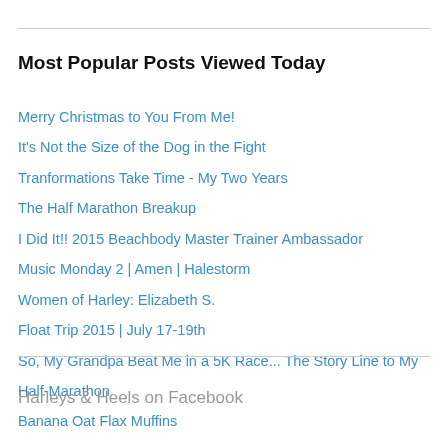Most Popular Posts Viewed Today
Merry Christmas to You From Me!
It's Not the Size of the Dog in the Fight
Tranformations Take Time - My Two Years
The Half Marathon Breakup
I Did It!! 2015 Beachbody Master Trainer Ambassador
Music Monday 2 | Amen | Halestorm
Women of Harley: Elizabeth S.
Float Trip 2015 | July 17-19th
So, My Grandpa Beat Me in a 5K Race... The Story Line to My Half-Marathon
Banana Oat Flax Muffins
Harleys & Heels on Facebook